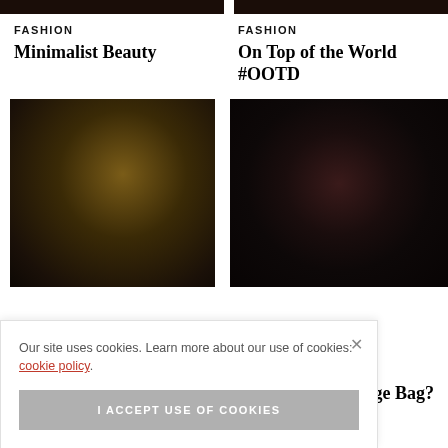[Figure (photo): Dark cropped top of image strip, two columns, left and right, showing tops of blurred photos]
FASHION
Minimalist Beauty
FASHION
On Top of the World #OOTD
[Figure (photo): Blurred photo with warm yellow-brown tones, fashion/beauty related]
[Figure (photo): Blurred dark photo with red/pink tones, fashion related]
College Bag?
Our site uses cookies. Learn more about our use of cookies: cookie policy.
I ACCEPT USE OF COOKIES